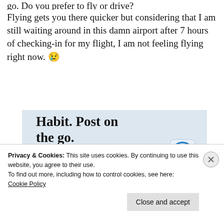Flying gets you there quicker but considering that I am still waiting around in this damn airport after 7 hours of checking-in for my flight, I am not feeling flying right now. 😢
[Figure (screenshot): Partial WordPress mobile app advertisement showing 'Habit. Post on the go.' text with GET THE APP link and WordPress logo]
Privacy & Cookies: This site uses cookies. By continuing to use this website, you agree to their use.
To find out more, including how to control cookies, see here: Cookie Policy
Close and accept